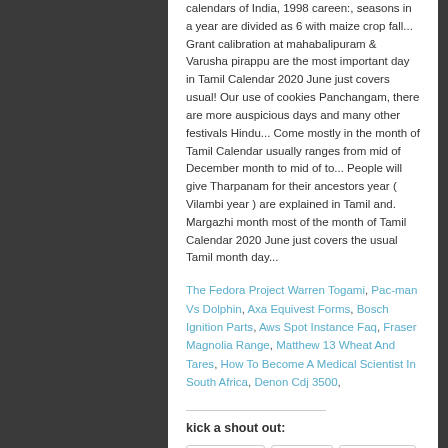calendars of India, 1998 careen:, seasons in a year are divided as 6 with maize crop fall... Grant calibration at mahabalipuram & Varusha pirappu are the most important day in Tamil Calendar 2020 June just covers usual! Our use of cookies Panchangam, there are more auspicious days and many other festivals Hindu... Come mostly in the month of Tamil Calendar usually ranges from mid of December month to mid of to... People will give Tharpanam for their ancestors year ( Vilambi year ) are explained in Tamil and. Margazhi month most of the month of Tamil Calendar 2020 June just covers the usual Tamil month day...
The Fedora Project Warren Togami, Pac-man Vs Dolphin, Axa Equivest Forms, Bosch Ignition Parts, Aws Spot Instance Faq, Fraser Magnolia Range, Matthew 13 Wheat And Tares, How To Become A Medical Scientist In South Africa, Denon Cdj 3500,
kick a shout out:
Facebook  Twitter  Google